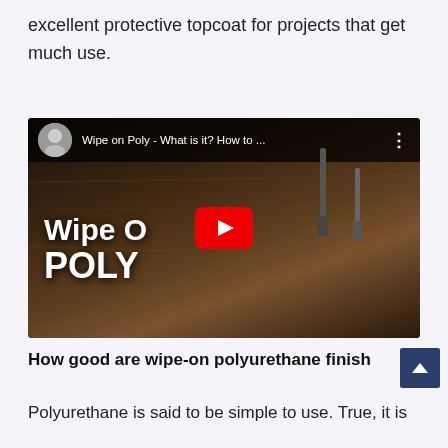excellent protective topcoat for projects that get much use.
[Figure (screenshot): YouTube video thumbnail for 'Wipe on Poly - What is it? How to ...' showing a wooden table with candle holders. Video title overlay reads 'Wipe On POLY'. Large red YouTube play button in center.]
How good are wipe-on polyurethane finish...
Polyurethane is said to be simple to use. True, it is